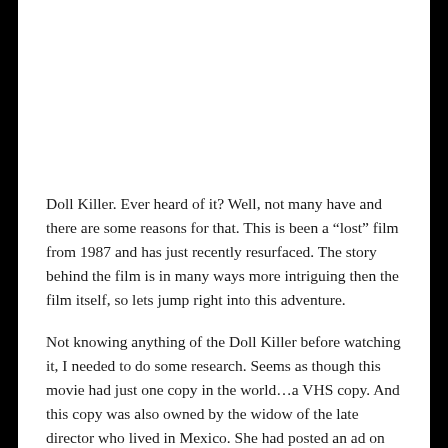Doll Killer. Ever heard of it? Well, not many have and there are some reasons for that. This is been a “lost” film from 1987 and has just recently resurfaced. The story behind the film is in many ways more intriguing then the film itself, so lets jump right into this adventure.
Not knowing anything of the Doll Killer before watching it, I needed to do some research. Seems as though this movie had just one copy in the world…a VHS copy. And this copy was also owned by the widow of the late director who lived in Mexico. She had posted an ad on Craigslist looking for a person to